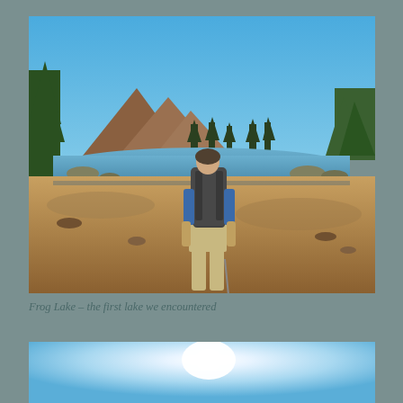[Figure (photo): A hiker with a large backpack stands on a sandy/rocky lakeshore looking out at Frog Lake, surrounded by trees and a mountain peak in the background under a clear blue sky.]
Frog Lake – the first lake we encountered
[Figure (photo): Bottom portion of a photo showing a bright blue sky with an intense white sun glare, transitioning to a lighter blue gradient near the horizon.]